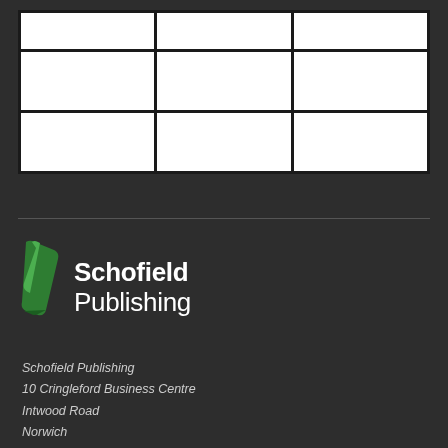[Figure (other): A 3x3 grid of white rectangular cells on a dark background, appearing as a table-like image grid layout with no content in cells]
[Figure (logo): Schofield Publishing logo: green stylized book/page icon on the left, with 'Schofield Publishing' text in white on the right on a dark background]
Schofield Publishing
10 Cringleford Business Centre
Intwood Road
Norwich
Norfolk
NR4 6AU